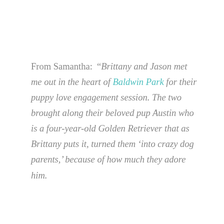From Samantha:  “Brittany and Jason met me out in the heart of Baldwin Park for their puppy love engagement session. The two brought along their beloved pup Austin who is a four-year-old Golden Retriever that as Brittany puts it, turned them ‘into crazy dog parents,’ because of how much they adore him.